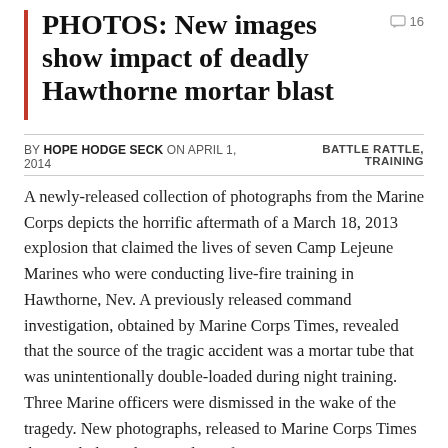PHOTOS: New images show impact of deadly Hawthorne mortar blast
BY HOPE HODGE SECK ON APRIL 1, 2014
BATTLE RATTLE, TRAINING
A newly-released collection of photographs from the Marine Corps depicts the horrific aftermath of a March 18, 2013 explosion that claimed the lives of seven Camp Lejeune Marines who were conducting live-fire training in Hawthorne, Nev. A previously released command investigation, obtained by Marine Corps Times, revealed that the source of the tragic accident was a mortar tube that was unintentionally double-loaded during night training. Three Marine officers were dismissed in the wake of the tragedy. New photographs, released to Marine Corps Times this week through a Freedom of